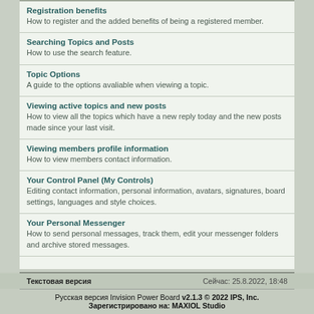Registration benefits
How to register and the added benefits of being a registered member.
Searching Topics and Posts
How to use the search feature.
Topic Options
A guide to the options avaliable when viewing a topic.
Viewing active topics and new posts
How to view all the topics which have a new reply today and the new posts made since your last visit.
Viewing members profile information
How to view members contact information.
Your Control Panel (My Controls)
Editing contact information, personal information, avatars, signatures, board settings, languages and style choices.
Your Personal Messenger
How to send personal messages, track them, edit your messenger folders and archive stored messages.
Текстовая версия    Сейчас: 25.8.2022, 18:48
Русская версия Invision Power Board v2.1.3 © 2022  IPS, Inc.
Зарегистрировано на: MAXIOL Studio